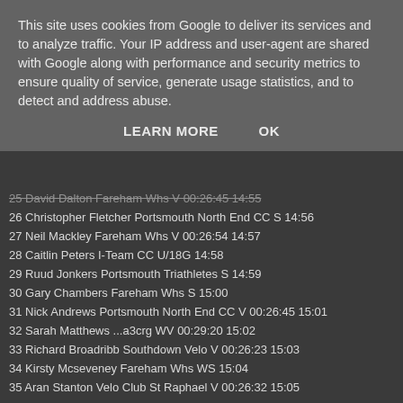This site uses cookies from Google to deliver its services and to analyze traffic. Your IP address and user-agent are shared with Google along with performance and security metrics to ensure quality of service, generate usage statistics, and to detect and address abuse.
LEARN MORE   OK
25 David Dalton Fareham Whs V 00:26:45 14:55
26 Christopher Fletcher Portsmouth North End CC S 14:56
27 Neil Mackley Fareham Whs V 00:26:54 14:57
28 Caitlin Peters I-Team CC U/18G 14:58
29 Ruud Jonkers Portsmouth Triathletes S 14:59
30 Gary Chambers Fareham Whs S 15:00
31 Nick Andrews Portsmouth North End CC V 00:26:45 15:01
32 Sarah Matthews ...a3crg WV 00:29:20 15:02
33 Richard Broadribb Southdown Velo V 00:26:23 15:03
34 Kirsty Mcseveney Fareham Whs WS 15:04
35 Aran Stanton Velo Club St Raphael V 00:26:32 15:05
36 James Brickell Fareham Whs U/18 15:06
37 Karina Bowie Team Bottrill WV 00:28:24 15:07
38 Vaughan Marris Fareham Whs U/18 15:08
39 Darryl Rice Blazing Saddles V 00:26:50 15:09
40 Sebastian Ader ...a3crg V 00:26:18 15:10
41 Robert Bennett Fareham Whs S 15:11